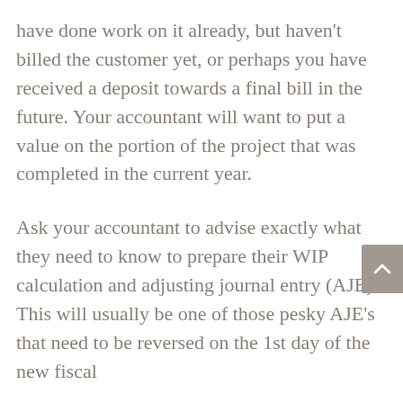have done work on it already, but haven't billed the customer yet, or perhaps you have received a deposit towards a final bill in the future. Your accountant will want to put a value on the portion of the project that was completed in the current year.
Ask your accountant to advise exactly what they need to know to prepare their WIP calculation and adjusting journal entry (AJE). This will usually be one of those pesky AJE's that need to be reversed on the 1st day of the new fiscal